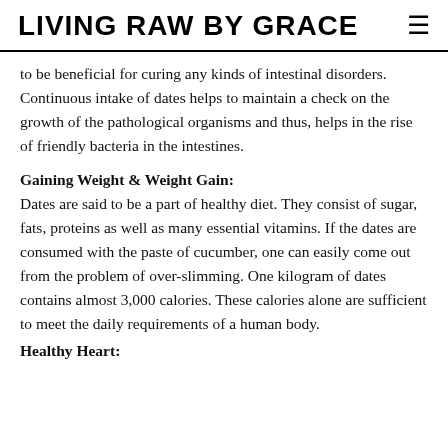LIVING RAW BY GRACE
to be beneficial for curing any kinds of intestinal disorders. Continuous intake of dates helps to maintain a check on the growth of the pathological organisms and thus, helps in the rise of friendly bacteria in the intestines.
Gaining Weight & Weight Gain:
Dates are said to be a part of healthy diet. They consist of sugar, fats, proteins as well as many essential vitamins. If the dates are consumed with the paste of cucumber, one can easily come out from the problem of over-slimming. One kilogram of dates contains almost 3,000 calories. These calories alone are sufficient to meet the daily requirements of a human body.
Healthy Heart: